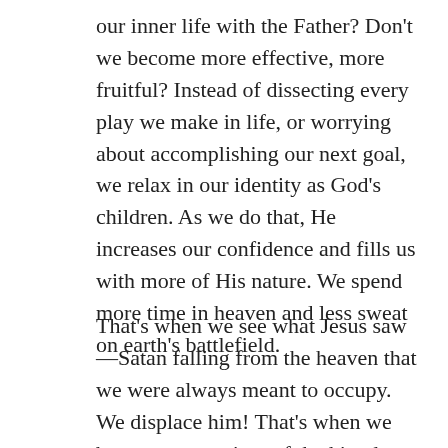our inner life with the Father? Don't we become more effective, more fruitful? Instead of dissecting every play we make in life, or worrying about accomplishing our next goal, we relax in our identity as God's children. As we do that, He increases our confidence and fills us with more of His nature. We spend more time in heaven and less sweat on earth's battlefield.
That's when we see what Jesus saw—Satan falling from the heaven that we were always meant to occupy. We displace him! That's when we become a container of the kingdom of God so that we can truly say, as we go about our lives: “The kingdom of God has come near to you.” The more that we